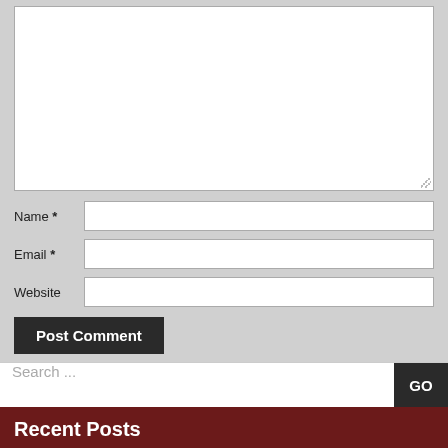[Figure (screenshot): Textarea input field for comment, with resize handle at bottom-right]
Name *
Email *
Website
Post Comment
Search ...
Recent Posts
Cara Mencari Kata Kunci – 4 Panduan Sumber Daya Alat Anda
Pecinta Kasino Online
Tips Dasar Judi Slot
Poker Terminologi Texas Holdem